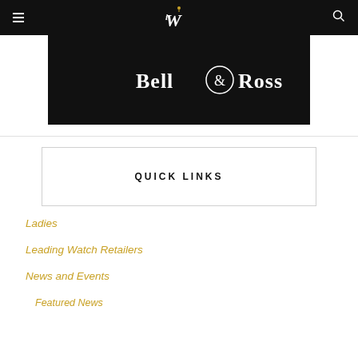iW navigation bar with hamburger menu, iW logo, and search icon
[Figure (logo): Bell & Ross brand logo in white text on black background banner]
QUICK LINKS
Ladies
Leading Watch Retailers
News and Events
Featured News